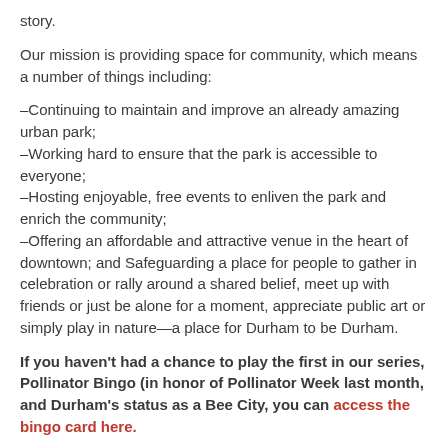story.
Our mission is providing space for community, which means a number of things including:
–Continuing to maintain and improve an already amazing urban park;
–Working hard to ensure that the park is accessible to everyone;
–Hosting enjoyable, free events to enliven the park and enrich the community;
–Offering an affordable and attractive venue in the heart of downtown; and Safeguarding a place for people to gather in celebration or rally around a shared belief, meet up with friends or just be alone for a moment, appreciate public art or simply play in nature—a place for Durham to be Durham.
If you haven't had a chance to play the first in our series, Pollinator Bingo (in honor of Pollinator Week last month, and Durham's status as a Bee City, you can access the bingo card here.